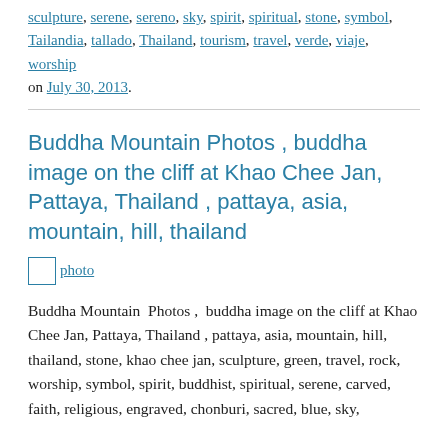sculpture, serene, sereno, sky, spirit, spiritual, stone, symbol, Tailandia, tallado, Thailand, tourism, travel, verde, viaje, worship on July 30, 2013.
Buddha Mountain Photos , buddha image on the cliff at Khao Chee Jan, Pattaya, Thailand , pattaya, asia, mountain, hill, thailand
[Figure (photo): photo link placeholder image]
Buddha Mountain  Photos ,  buddha image on the cliff at Khao Chee Jan, Pattaya, Thailand , pattaya, asia, mountain, hill, thailand, stone, khao chee jan, sculpture, green, travel, rock, worship, symbol, spirit, buddhist, spiritual, serene, carved, faith, religious, engraved, chonburi, sacred, blue, sky,